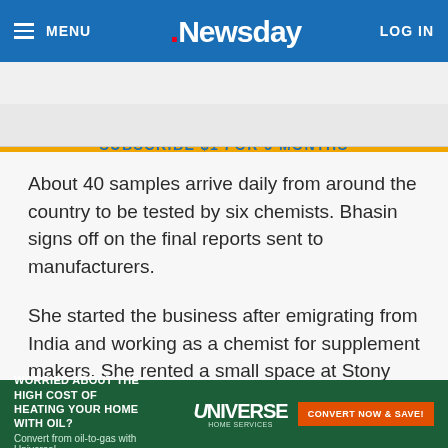≡ MENU  .Newsday  LOG IN
SUBSCRIBE $1 FOR 5 MONTHS
About 40 samples arrive daily from around the country to be tested by six chemists. Bhasin signs off on the final reports sent to manufacturers.
She started the business after emigrating from India and working as a chemist for supplement makers. She rented a small space at Stony Brook University's Calverton Business Incubator and bought refurbished equipment at online auctions.
Bhasin... nce worke... es, as
[Figure (infographic): Universe Home Services advertisement banner: 'WORRIED ABOUT THE HIGH COST OF HEATING YOUR HOME WITH OIL? Convert from oil-to-gas with Universe!' with logo and 'CONVERT NOW & SAVE!' button]